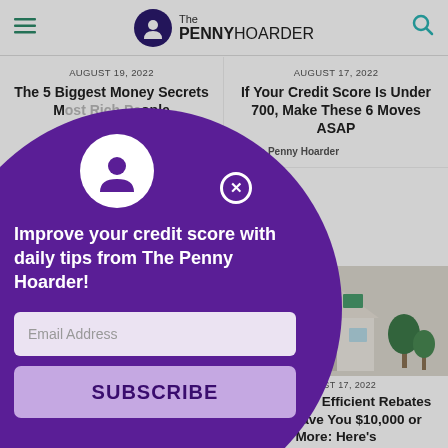The Penny Hoarder
AUGUST 19, 2022
The 5 Biggest Money Secrets Most Rich People Won't Tell You
AUGUST 17, 2022
If Your Credit Score Is Under 700, Make These 6 Moves ASAP
by The Penny Hoarder
[Figure (screenshot): Modal popup overlay on The Penny Hoarder website with purple circular design, avatar icon, close button, headline 'Improve your credit score with daily tips from The Penny Hoarder!', email input field, and SUBSCRIBE button]
10 Homeowners Insurance Discounts to Lower Your Bill
[Figure (illustration): Illustration of a house with solar panels on the roof and trees]
AUGUST 17, 2022
New Energy Efficient Rebates Could Save You $10,000 or More: Here's